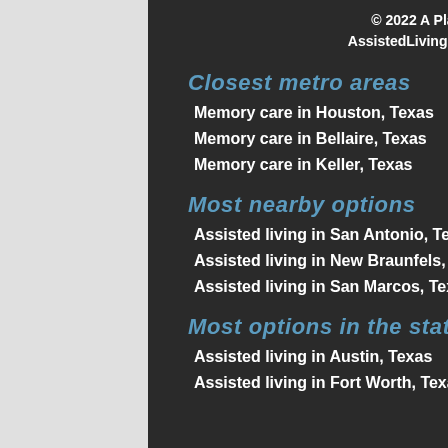© 2022 A Place for Mom, Inc. All Rights Reserved.
AssistedLiving.com is a website of A Place for Mom, Inc.
Closest metro areas
Memory care in Houston, Texas
Memory care in Bellaire, Texas
Memory care in Keller, Texas
Most nearby options
Assisted living in San Antonio, Texas
Assisted living in New Braunfels, Texas
Assisted living in San Marcos, Texas
Most options in the state
Assisted living in Austin, Texas
Assisted living in Fort Worth, Texas